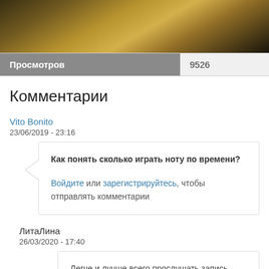[Figure (photo): Partial video thumbnail showing a person in a checkered/plaid shirt, dark background]
| Просмотров | 9526 |
| --- | --- |
Комментарии
Vito Bonito
23/06/2019 - 23:16
Как понять сколько играть ноту по времени?
Войдите или зарегистрируйтесь, чтобы отправлять комментарии
ЛитаЛина
26/03/2020 - 17:40
Легче и лучше всего прослушать запись несколько раз